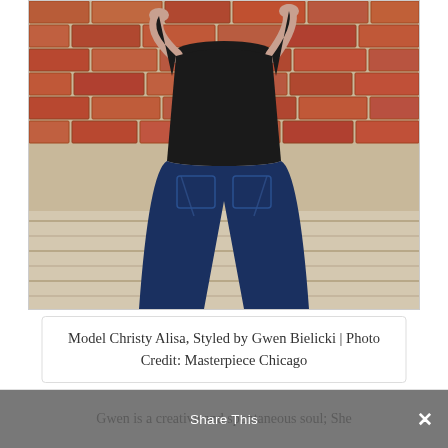[Figure (photo): A person viewed from behind, wearing a black top and dark blue jeans, standing in front of a red brick wall background with a wooden floor.]
Model Christy Alisa, Styled by Gwen Bielicki | Photo Credit: Masterpiece Chicago
Gwen is a creative and spontaneous soul; She